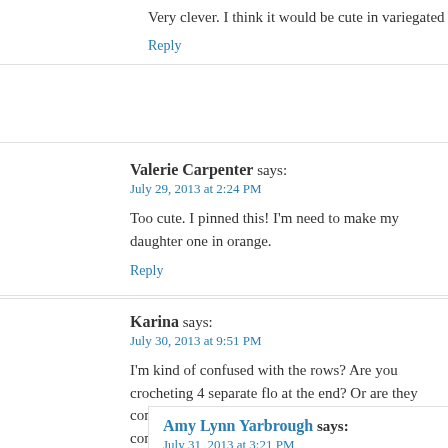Very clever. I think it would be cute in variegated yarn too. What a fun
Reply
Valerie Carpenter says:
July 29, 2013 at 2:24 PM
Too cute. I pinned this! I'm need to make my daughter one in orange.
Reply
Karina says:
July 30, 2013 at 9:51 PM
I'm kind of confused with the rows? Are you crocheting 4 separate flo at the end? Or are they continuous? I start out by making an awesome confused where to go from there? To row 2?
-Karina
Reply
Amy Lynn Yarbrough says:
July 31, 2013 at 3:21 PM